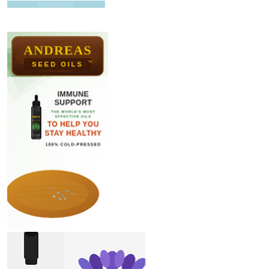[Figure (photo): Partial top image, appears to be a product or nature photo cropped at top]
[Figure (advertisement): Andreas Seed Oils advertisement. Large square ad showing a dark glass dropper bottle on a wooden board with seeds, palm leaf background. Text reads: ANDREAS SEED OILS, IMMUNE SUPPORT, THE WORLD'S MOST EFFECTIVE OILS, TO HELP YOU STAY HEALTHY, 100% COLD-PRESSED]
[Figure (photo): Bottom partial images showing a dark dropper bottle on left and a purple lotus flower graphic on right, both cropped at bottom of page]